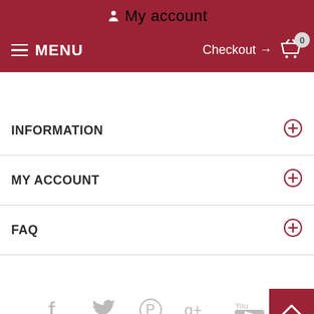My account
MENU   Checkout → 0
INFORMATION
MY ACCOUNT
FAQ
[Figure (infographic): Social media icons: Facebook, Twitter, Pinterest, Google+, YouTube]
$82.90   SELECT OPTIONS